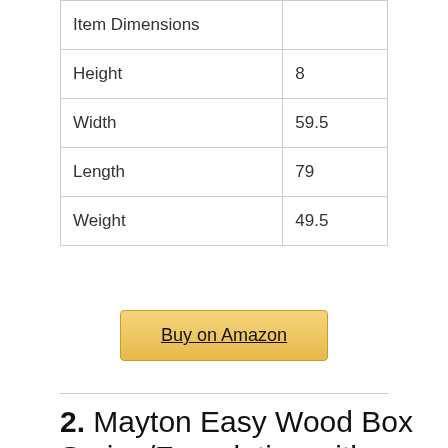| Item Dimensions |  |
| --- | --- |
| Height | 8 |
| Width | 59.5 |
| Length | 79 |
| Weight | 49.5 |
Buy on Amazon
2. Mayton Easy Wood Box Spring/Foundation with